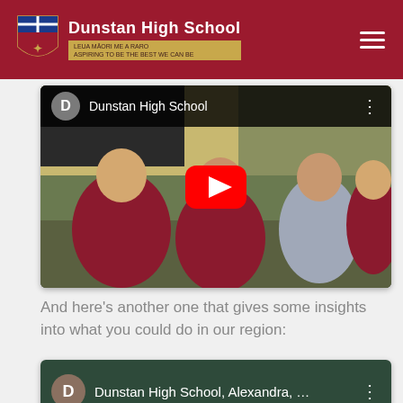Dunstan High School
[Figure (screenshot): YouTube embed showing Dunstan High School video with students dancing/performing in school uniforms. YouTube play button visible in center. Channel name 'Dunstan High School' shown in top bar.]
And here's another one that gives some insights into what you could do in our region:
[Figure (screenshot): YouTube embed showing second Dunstan High School video titled 'Dunstan High School, Alexandra, ...' with dark green background.]